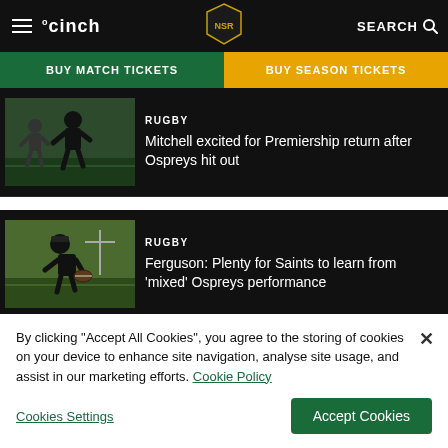cinch | Northampton Saints | SEARCH
BUY MATCH TICKETS
BUY SEASON TICKETS
[Figure (photo): Rugby player running in black kit during training]
RUGBY
Mitchell excited for Premiership return after Ospreys hit out
[Figure (photo): Rugby player holding ball in black kit during training]
RUGBY
Ferguson: Plenty for Saints to learn from 'mixed' Ospreys performance
By clicking “Accept All Cookies”, you agree to the storing of cookies on your device to enhance site navigation, analyse site usage, and assist in our marketing efforts. Cookie Policy
Cookies Settings
Accept Cookies